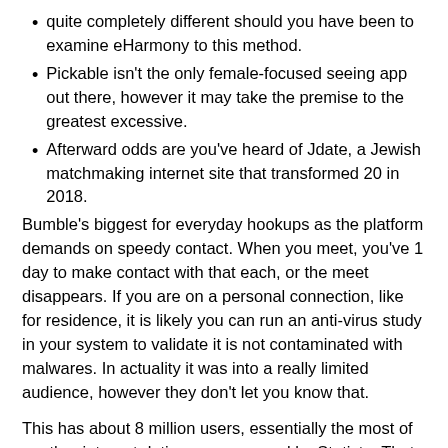quite completely different should you have been to examine eHarmony to this method.
Pickable isn't the only female-focused seeing app out there, however it may take the premise to the greatest excessive.
Afterward odds are you've heard of Jdate, a Jewish matchmaking internet site that transformed 20 in 2018.
Bumble's biggest for everyday hookups as the platform demands on speedy contact. When you meet, you've 1 day to make contact with that each, or the meet disappears. If you are on a personal connection, like for residence, it is likely you can run an anti-virus study in your system to validate it is not contaminated with malwares. In actuality it was into a really limited audience, however they don't let you know that.
This has about 8 million users, essentially the most of another internet dating app surveyed by Statista. That